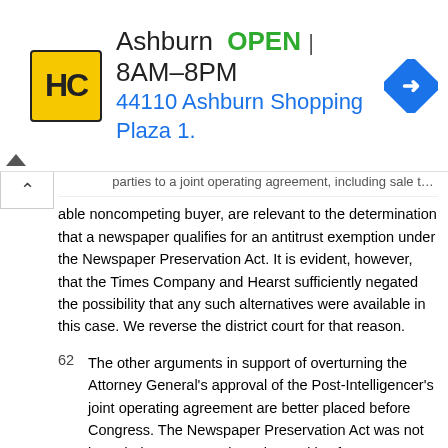[Figure (other): Advertisement banner: HC logo (yellow), 'Ashburn OPEN 8AM–8PM', '44110 Ashburn Shopping Plaza 1.', navigation arrow icon]
...parties to a joint operating agreement, including sale to a able noncompeting buyer, are relevant to the determination that a newspaper qualifies for an antitrust exemption under the Newspaper Preservation Act. It is evident, however, that the Times Company and Hearst sufficiently negated the possibility that any such alternatives were available in this case. We reverse the district court for that reason.
62 The other arguments in support of overturning the Attorney General's approval of the Post-Intelligencer's joint operating agreement are better placed before Congress. The Newspaper Preservation Act was not intended to create antitrust immunities for any newspapers which simply allege they are having difficulties. However, neither does it contain an array of implied conditions which in effect would reinstate the Citizen Publishing standards. Simply put, we will not emasculate the Act in the guise of narrowly construing it. We therefore affirm the district court on the issues raised by the Committee's cross-appeal.